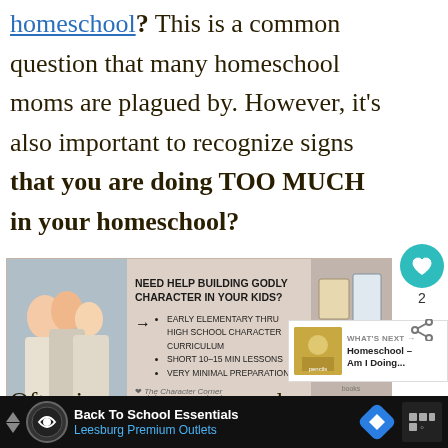homeschool? This is a common question that many homeschool moms are plagued by. However, it's also important to recognize signs that you are doing TOO MUCH in your homeschool?
[Figure (infographic): Advertisement banner for character curriculum: 'Need help building godly character in your kids?' with bullet points about early elementary thru high school character curriculum, short 10–15 min lessons, very minimal preparation. Shows family photo on left and books on right.]
[Figure (infographic): What's Next panel showing thumbnail image with text 'Homeschool – Am I Doing...']
Often in an attempt to make sure
[Figure (infographic): Bottom advertisement bar: 'Back To School Essentials – Leesburg Premium Outlets' with logo icons.]